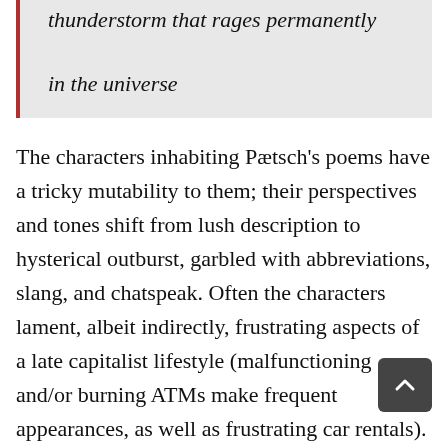thunderstorm that rages permanently in the universe
The characters inhabiting Pætsch's poems have a tricky mutability to them; their perspectives and tones shift from lush description to hysterical outburst, garbled with abbreviations, slang, and chatspeak. Often the characters lament, albeit indirectly, frustrating aspects of a late capitalist lifestyle (malfunctioning and/or burning ATMs make frequent appearances, as well as frustrating car rentals). The characters seem post-human, changing, morphing states and affects freely, and